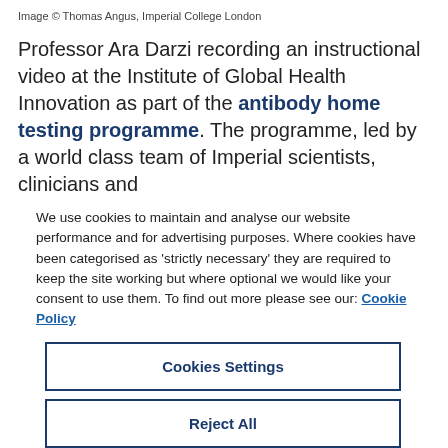Image © Thomas Angus, Imperial College London
Professor Ara Darzi recording an instructional video at the Institute of Global Health Innovation as part of the antibody home testing programme. The programme, led by a world class team of Imperial scientists, clinicians and
We use cookies to maintain and analyse our website performance and for advertising purposes. Where cookies have been categorised as 'strictly necessary' they are required to keep the site working but where optional we would like your consent to use them. To find out more please see our: Cookie Policy
Cookies Settings
Reject All
Accept All Cookies